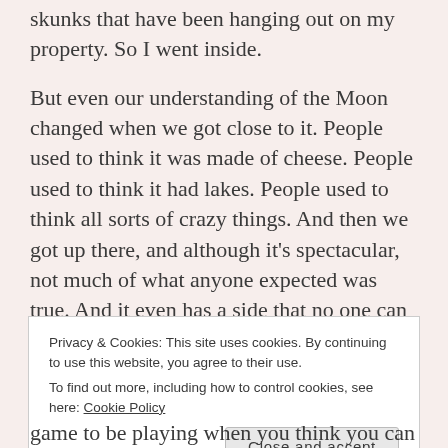skunks that have been hanging out on my property. So I went inside.
But even our understanding of the Moon changed when we got close to it. People used to think it was made of cheese. People used to think it had lakes. People used to think all sorts of crazy things. And then we got up there, and although it's spectacular, not much of what anyone expected was true. And it even has a side that no one can see.
I'm not saying it's wrong to postulate things that could be or might be. But maybe we shouldn't be so
Privacy & Cookies: This site uses cookies. By continuing to use this website, you agree to their use.
To find out more, including how to control cookies, see here: Cookie Policy
Close and accept
game to be playing when you think you can